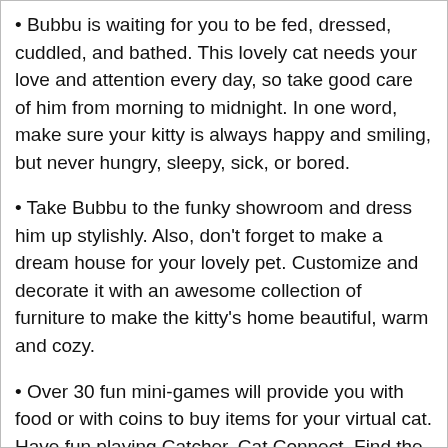Bubbu is waiting for you to be fed, dressed, cuddled, and bathed. This lovely cat needs your love and attention every day, so take good care of him from morning to midnight. In one word, make sure your kitty is always happy and smiling, but never hungry, sleepy, sick, or bored.
Take Bubbu to the funky showroom and dress him up stylishly. Also, don't forget to make a dream house for your lovely pet. Customize and decorate it with an awesome collection of furniture to make the kitty's home beautiful, warm and cozy.
Over 30 fun mini-games will provide you with food or with coins to buy items for your virtual cat. Have fun playing Catcher, Cat Connect, Find the Cat, 2048, Paint the Cat, Jump, Pop Balloons, Cheese Builder, Fish Ninja, Cat Sings, Nightmare, Jumping Cat, Diver, Stick Ninja, etc.
Spin the wheel of fortune every day, complete daily challenges, and explore friends' houses to get some extra